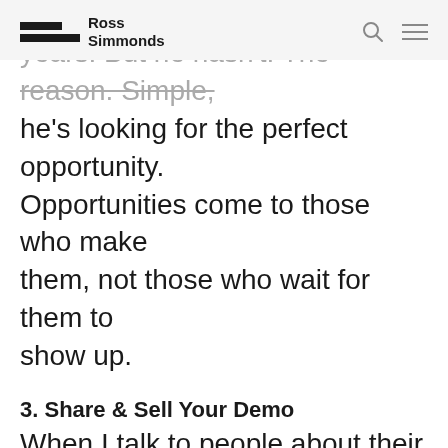Ross Simmonds
years. But he hasn't. The reason. Simple, he's looking for the perfect opportunity. Opportunities come to those who make them, not those who wait for them to show up.
3. Share & Sell Your Demo
When I talk to people about their business idea or the next feature they're about to launch and they say it's a secret, I want to put a pencil in my eye. Ok, maybe it's not that extreme but seriously. If secrecy is